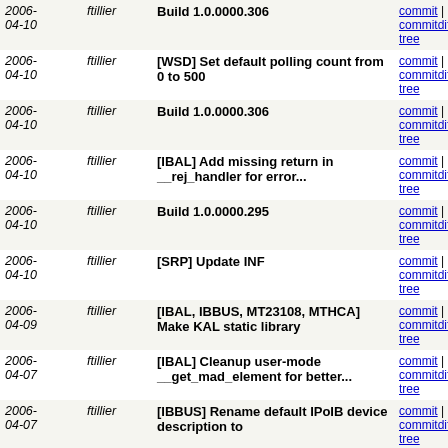| Date | Author | Message | Links |
| --- | --- | --- | --- |
| 2006-04-10 | ftillier | Build 1.0.0000.306 (partial) | commit | commitdiff | tree |
| 2006-04-10 | ftillier | [WSD] Set default polling count from 0 to 500 | commit | commitdiff | tree |
| 2006-04-10 | ftillier | Build 1.0.0000.306 | commit | commitdiff | tree |
| 2006-04-10 | ftillier | [IBAL] Add missing return in __rej_handler for error... | commit | commitdiff | tree |
| 2006-04-10 | ftillier | Build 1.0.0000.295 | commit | commitdiff | tree |
| 2006-04-10 | ftillier | [SRP] Update INF | commit | commitdiff | tree |
| 2006-04-09 | ftillier | [IBAL, IBBUS, MT23108, MTHCA] Make KAL static library | commit | commitdiff | tree |
| 2006-04-07 | ftillier | [IBAL] Cleanup user-mode __get_mad_element for better... | commit | commitdiff | tree |
| 2006-04-07 | ftillier | [IBBUS] Rename default IPoIB device description to | commit | commitdiff | tree |
| 2006-04-07 | ftillier | [IBAL] Fix handling of stale connections. | commit | commitdiff | tree |
| 2006-04-06 | ftillier | [WSD] Add perfmon counter object implementation. WSD... | commit | commitdiff | tree |
| 2006-04-06 | ftillier | [IBAL] Delete stale code | commit | commitdiff | tree |
| 2006-04-06 | ftillier | [IBAL] Handle acquire_ca failing in create_iou | commit | commitdiff | tree |
| 2006-04- | ftillier | [HCAFWUPDATE] Update to print out | commit | |